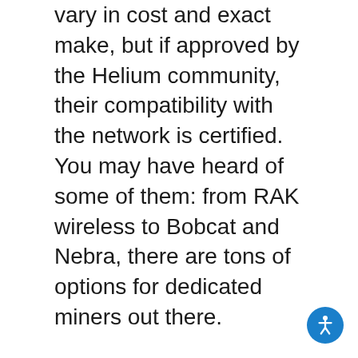vary in cost and exact make, but if approved by the Helium community, their compatibility with the network is certified. You may have heard of some of them: from RAK wireless to Bobcat and Nebra, there are tons of options for dedicated miners out there.
The real barrier of entry to the Helium network is the cost of these devices. Though some are cheaper than others, they can cost $600USD or more a piece – and the payout from the Helium network is by no means immediate.
Though such an investment should more than add up in the long term.
[Figure (illustration): Blue circular accessibility icon with white wheelchair/person symbol]